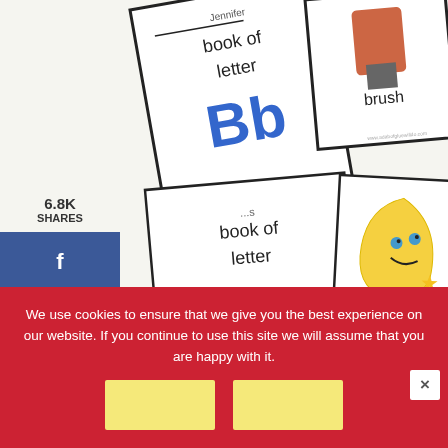[Figure (photo): Educational letter books showing 'book of letter Bb' with brush image, and 'book of letter Mm' with moon image, arranged at an angle on a white background]
6.8K
SHARES
[Figure (infographic): Facebook share button (blue)]
[Figure (infographic): Twitter share button (light blue)]
[Figure (infographic): Pinterest share button (red) showing 6.8K]
join our list
We use cookies to ensure that we give you the best experience on our website. If you continue to use this site we will assume that you are happy with it.